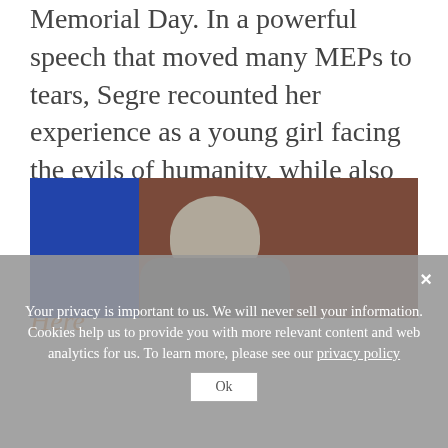Memorial Day. In a powerful speech that moved many MEPs to tears, Segre recounted her experience as a young girl facing the evils of humanity, while also launching a mighty message of love for life and to strive against racism and anti-Semitism. Read Here
[Figure (photo): Photograph showing a person from behind, with grey hair, wearing a grey suit jacket, against a blue and dark red/brown background.]
Your privacy is important to us. We will never sell your information. Cookies help us to provide you with more relevant content and web analytics for us. To learn more, please see our privacy policy Ok